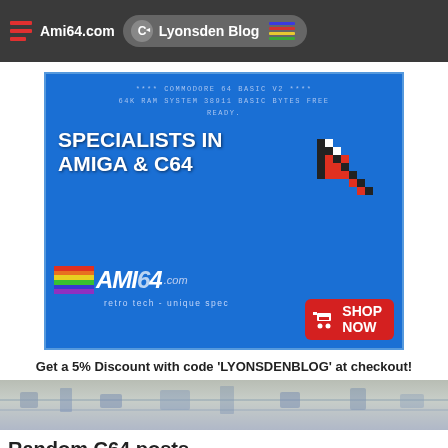Ami64.com | Lyonsden Blog
[Figure (illustration): Advertisement for ami64.com showing Commodore 64 BASIC V2 screen text, 'SPECIALISTS IN AMIGA & C64' headline, AMI64.com logo with rainbow stripe, pixelated cursor graphic, retro tech - unique spec tagline, and a red SHOP NOW button.]
Get a 5% Discount with code 'LYONSDENBLOG' at checkout!
[Figure (photo): Circuit board / retro computer hardware banner image in greyscale/blue tones.]
Random C64 posts